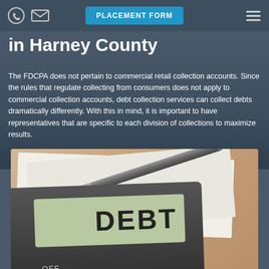PLACEMENT FORM
in Harney County
The FDCPA does not pertain to commercial retail collection accounts. Since the rules that regulate collecting from consumers does not apply to commercial collection accounts, debt collection services can collect debts dramatically differently. With this in mind, it is important to have representatives that are specific to each division of collections to maximize results.
[Figure (photo): Photo of a calculator displaying the word DEBT on its screen, surrounded by financial documents with charts and graphs, and a fountain pen resting on top. The calculator is dark/black with an off button visible at the bottom.]